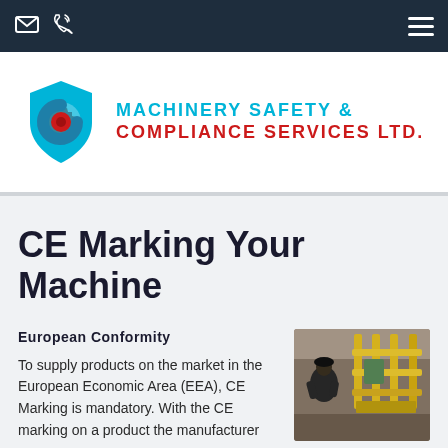Machinery Safety & Compliance Services Ltd. — navigation bar with email and phone icons
[Figure (logo): Machinery Safety & Compliance Services Ltd. logo: cyan shield with gear and red circle, company name in cyan and red]
CE Marking Your Machine
European Conformity
To supply products on the market in the European Economic Area (EEA), CE Marking is mandatory. With the CE marking on a product the manufacturer
[Figure (photo): Factory worker inspecting yellow industrial machinery/guardrails in a manufacturing facility]